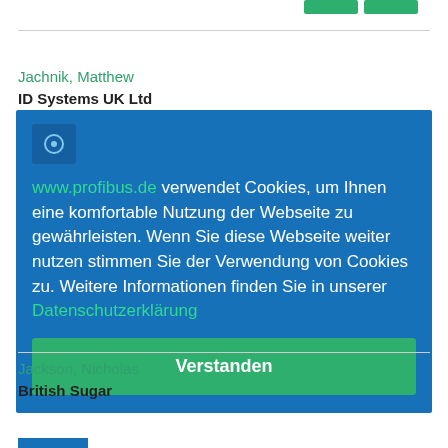Jachnik, Matthew
ID Systems UK Ltd
www.profibus.de verwendet Cookies, um Ihnen eine komfortable Nutzung der Webseite zu gewährleisten. Wenn Sie diese Webseite weiter nutzen stimmen Sie der Verwendung von Cookies zu. Weitere Informationen finden Sie in unserer Datenschutzerklärung
Verstanden
Jackson, Nicholas
British Sugar